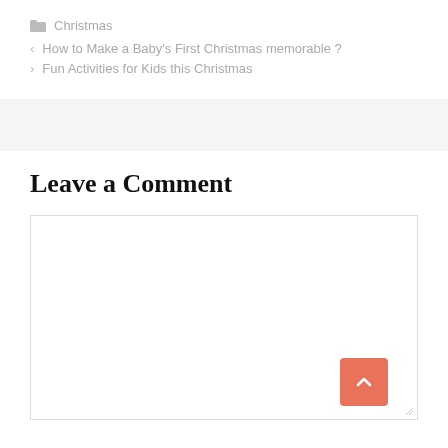Christmas
How to Make a Baby's First Christmas memorable ?
Fun Activities for Kids this Christmas
Leave a Comment
[Figure (screenshot): Empty comment textarea input box with a resize handle at bottom right]